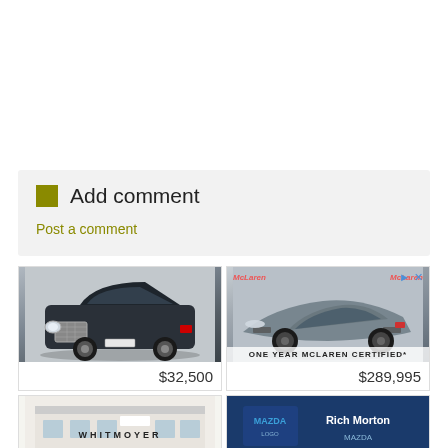Add comment
Post a comment
[Figure (photo): Car listing ad grid showing: top-left a dark Bentley sedan priced at $32,500; top-right a McLaren sports car with 'ONE YEAR MCLAREN CERTIFIED*' text priced at $289,995; bottom-left Whitmoyer dealership exterior; bottom-right Rich Morton Mazda dealership with blue background.]